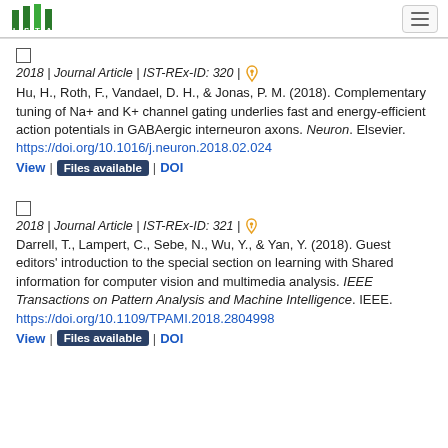ISTA logo and navigation menu
2018 | Journal Article | IST-REx-ID: 320 | [open access icon]
Hu, H., Roth, F., Vandael, D. H., & Jonas, P. M. (2018). Complementary tuning of Na+ and K+ channel gating underlies fast and energy-efficient action potentials in GABAergic interneuron axons. Neuron. Elsevier. https://doi.org/10.1016/j.neuron.2018.02.024
View | Files available | DOI
2018 | Journal Article | IST-REx-ID: 321 | [open access icon]
Darrell, T., Lampert, C., Sebe, N., Wu, Y., & Yan, Y. (2018). Guest editors' introduction to the special section on learning with Shared information for computer vision and multimedia analysis. IEEE Transactions on Pattern Analysis and Machine Intelligence. IEEE. https://doi.org/10.1109/TPAMI.2018.2804998
View | Files available | DOI